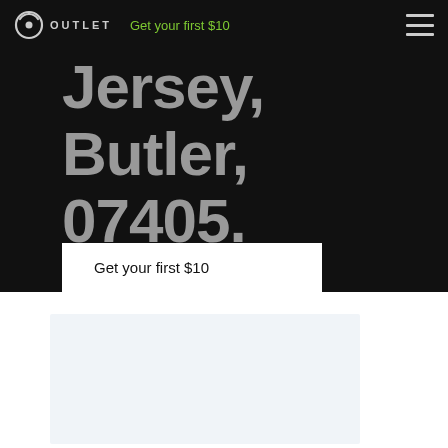OUTLET — Get your first $10
Jersey, Butler, 07405.
Get your first $10
[Figure (other): Light blue-gray placeholder image box in the white section at the bottom of the page]